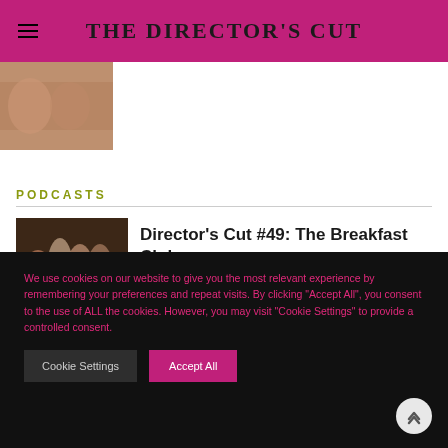THE DIRECTOR'S CUT
[Figure (photo): Partial view of a movie-related illustration or poster image at top left]
PODCASTS
[Figure (photo): Group photo of The Breakfast Club cast members standing together]
Director's Cut #49: The Breakfast Club
We use cookies on our website to give you the most relevant experience by remembering your preferences and repeat visits. By clicking “Accept All”, you consent to the use of ALL the cookies. However, you may visit "Cookie Settings" to provide a controlled consent.